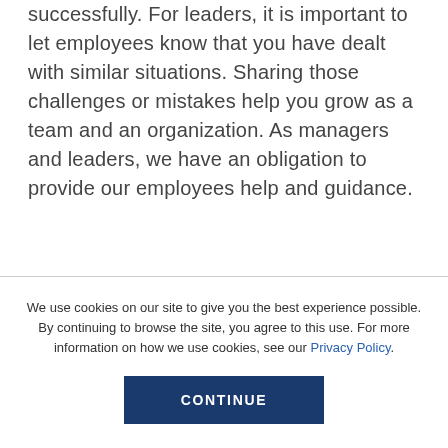successfully. For leaders, it is important to let employees know that you have dealt with similar situations. Sharing those challenges or mistakes help you grow as a team and an organization. As managers and leaders, we have an obligation to provide our employees help and guidance.
We use cookies on our site to give you the best experience possible. By continuing to browse the site, you agree to this use. For more information on how we use cookies, see our Privacy Policy.
CONTINUE